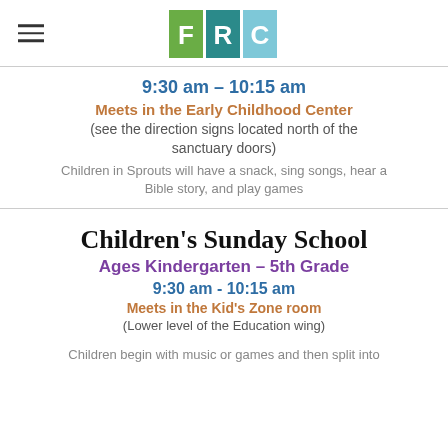FRC logo and navigation
9:30 am - 10:15 am
Meets in the Early Childhood Center
(see the direction signs located north of the sanctuary doors)
Children in Sprouts will have a snack, sing songs, hear a Bible story, and play games
Children's Sunday School
Ages Kindergarten - 5th Grade
9:30 am - 10:15 am
Meets in the Kid's Zone room
(Lower level of the Education wing)
Children begin with music or games and then split into